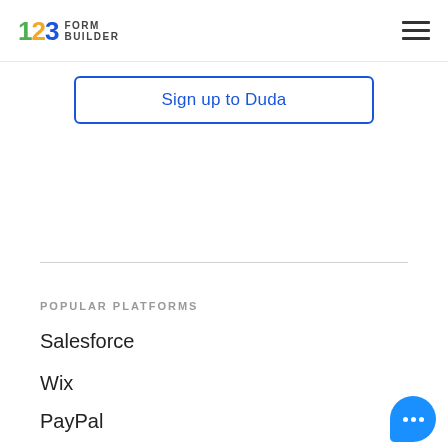[Figure (logo): 123 Form Builder logo with colorful numbers and text]
Sign up to Duda
POPULAR PLATFORMS
Salesforce
Wix
PayPal